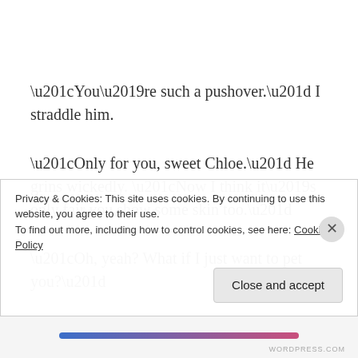“You’re such a pushover.” I straddle him.
“Only for you, sweet Chloe.” He grins wickedly. “Now I think it’s only fair you show some skin too.”
“Oh, yeah? What if I just want to pet you?”
A bit of the cat gleams in his eyes. “But I want to see
Privacy & Cookies: This site uses cookies. By continuing to use this website, you agree to their use.
To find out more, including how to control cookies, see here: Cookie Policy
Close and accept